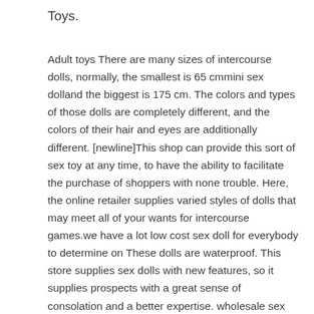Toys.
Adult toys There are many sizes of intercourse dolls, normally, the smallest is 65 cmmini sex dolland the biggest is 175 cm. The colors and types of those dolls are completely different, and the colors of their hair and eyes are additionally different. [newline]This shop can provide this sort of sex toy at any time, to have the ability to facilitate the purchase of shoppers with none trouble. Here, the online retailer supplies varied styles of dolls that may meet all of your wants for intercourse games.we have a lot low cost sex doll for everybody to determine on These dolls are waterproof. This store supplies sex dolls with new features, so it supplies prospects with a great sense of consolation and a better expertise. wholesale sex toys.